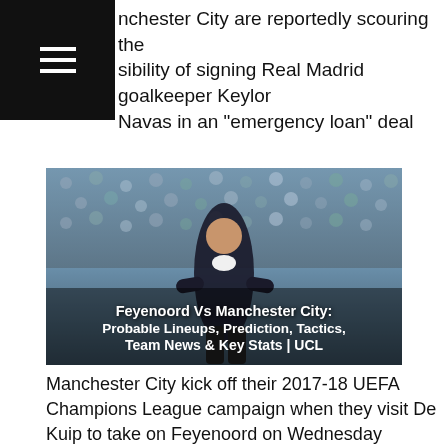Manchester City are reportedly scouring the possibility of signing Real Madrid goalkeeper Keylor Navas in an "emergency loan" deal
[Figure (photo): Photo of a football manager (Pep Guardiola) standing on a touchline in front of a crowd, with white bold text overlay reading: Feyenoord Vs Manchester City: Probable Lineups, Prediction, Tactics, Team News & Key Stats | UCL]
Manchester City kick off their 2017-18 UEFA Champions League campaign when they visit De Kuip to take on Feyenoord on Wednesday